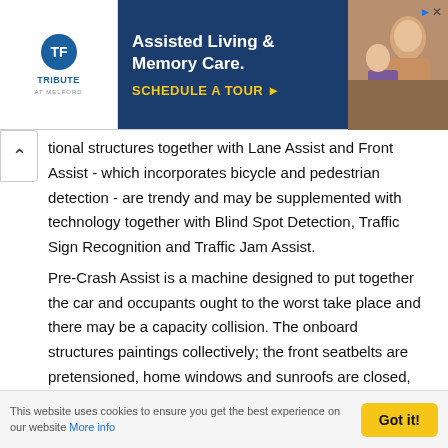[Figure (other): Advertisement banner for Tribute at Melford Assisted Living & Memory Care with a 'Schedule a Tour' call to action, showing logo on left, dark blue text panel in center, and photo of elderly person on right.]
tional structures together with Lane Assist and Front Assist - which incorporates bicycle and pedestrian detection - are trendy and may be supplemented with technology together with Blind Spot Detection, Traffic Sign Recognition and Traffic Jam Assist.
Pre-Crash Assist is a machine designed to put together the car and occupants ought to the worst take place and there may be a capacity collision. The onboard structures paintings collectively; the front seatbelts are pretensioned, home windows and sunroofs are closed, and caution lighting fixtures are activated to be able to mitigate the effects of an accident.
Predictive Adaptive Cruise Control (ACC) can role the big SUV
This website uses cookies to ensure you get the best experience on our website More info